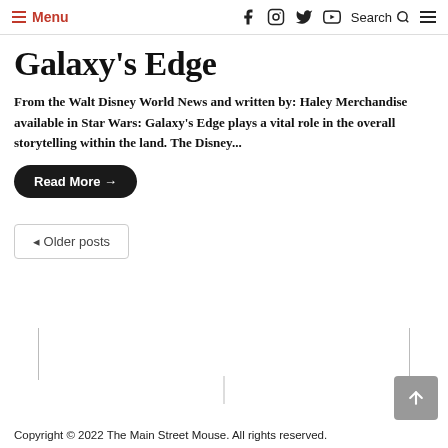Menu | Social icons | Search
Galaxy's Edge
From the Walt Disney World News and written by: Haley Merchandise available in Star Wars: Galaxy's Edge plays a vital role in the overall storytelling within the land. The Disney...
Read More →
◄ Older posts
Copyright © 2022 The Main Street Mouse. All rights reserved.